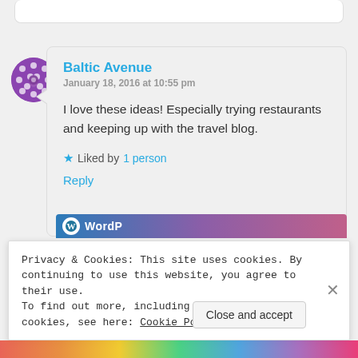Baltic Avenue
January 18, 2016 at 10:55 pm
I love these ideas! Especially trying restaurants and keeping up with the travel blog.
Liked by 1 person
Reply
Privacy & Cookies: This site uses cookies. By continuing to use this website, you agree to their use.
To find out more, including how to control cookies, see here: Cookie Policy
Close and accept